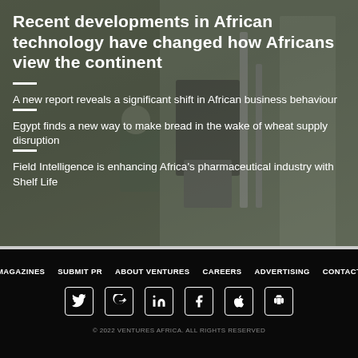Recent developments in African technology have changed how Africans view the continent
A new report reveals a significant shift in African business behaviour
Egypt finds a new way to make bread in the wake of wheat supply disruption
Field Intelligence is enhancing Africa's pharmaceutical industry with Shelf Life
MAGAZINES  SUBMIT PR  ABOUT VENTURES  CAREERS  ADVERTISING  CONTACT
© 2022 VENTURES AFRICA. ALL RIGHTS RESERVED